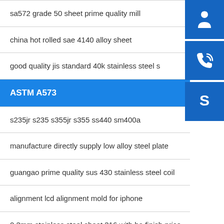sa572 grade 50 sheet prime quality mill
china hot rolled sae 4140 alloy sheet
good quality jis standard 40k stainless steel s
ASTM A573
s235jr s235 s355jr s355 ss440 sm400a
manufacture directly supply low alloy steel plate
guangao prime quality sus 430 stainless steel coil
alignment lcd alignment mold for iphone
0.3mm stainless steel sheet 316 with ba finish price
[Figure (illustration): Three blue sidebar buttons: customer service headset icon, phone/call icon, and Skype icon]